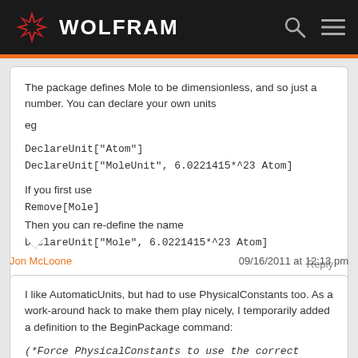WOLFRAM
The package defines Mole to be dimensionless, and so just a number. You can declare your own units
eg
DeclareUnit["Atom"]
DeclareUnit["MoleUnit", 6.0221415*^23 Atom]
If you first use
Remove[Mole]
Then you can re-define the name
DeclareUnit["Mole", 6.0221415*^23 Atom]
Reply
Jon McLoone
09/16/2011 at 12:13 pm
I like AutomaticUnits, but had to use PhysicalConstants too. As a work-around hack to make them play nicely, I temporarily added a definition to the BeginPackage command:
(*Force PhysicalConstants to use the correct units package.*)
Unprotect[BeginPackage];